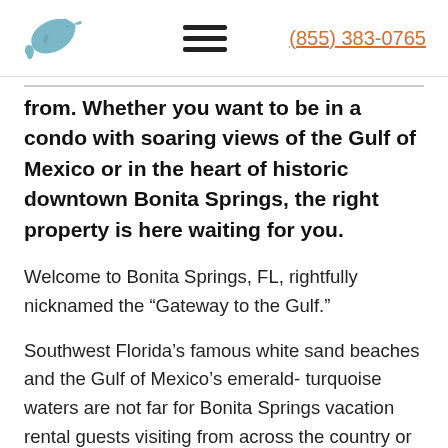(855) 383-0765
from. Whether you want to be in a condo with soaring views of the Gulf of Mexico or in the heart of historic downtown Bonita Springs, the right property is here waiting for you.
Welcome to Bonita Springs, FL, rightfully nicknamed the “Gateway to the Gulf.”
Southwest Florida’s famous white sand beaches and the Gulf of Mexico’s emerald- turquoise waters are not far for Bonita Springs vacation rental guests visiting from across the country or from around the